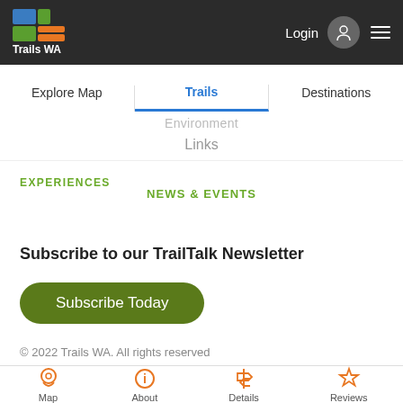[Figure (logo): Trails WA logo with colorful squares (blue, green, orange) and text 'Trails WA' in white]
Login  ☰
Explore Map   Trails   Destinations
Environment
Links
EXPERIENCES
NEWS & EVENTS
Subscribe to our TrailTalk Newsletter
Subscribe Today
© 2022 Trails WA. All rights reserved
Map   About   Details   Reviews